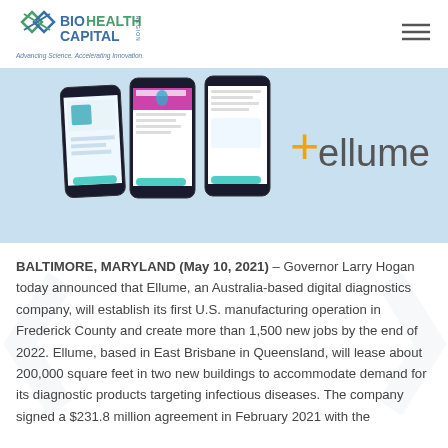[Figure (logo): BioHealth Capital Region logo with tagline 'Advancing Science. Accelerating Innovation.']
[Figure (photo): Ellume digital diagnostics company banner showing three smartphone screens with app interfaces and the Ellume logo on a light blue background]
BALTIMORE, MARYLAND (May 10, 2021) – Governor Larry Hogan today announced that Ellume, an Australia-based digital diagnostics company, will establish its first U.S. manufacturing operation in Frederick County and create more than 1,500 new jobs by the end of 2022. Ellume, based in East Brisbane in Queensland, will lease about 200,000 square feet in two new buildings to accommodate demand for its diagnostic products targeting infectious diseases. The company signed a $231.8 million agreement in February 2021 with the